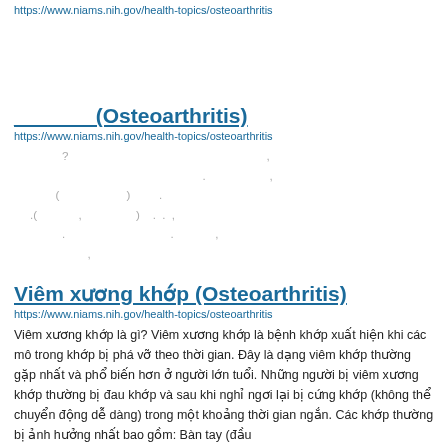https://www.niams.nih.gov/health-topics/osteoarthritis
_______(Osteoarthritis)
https://www.niams.nih.gov/health-topics/osteoarthritis
? , , ( ) . ( , ) . . , . , , ,
Viêm xương khớp (Osteoarthritis)
https://www.niams.nih.gov/health-topics/osteoarthritis
Viêm xương khớp là gì? Viêm xương khớp là bệnh khớp xuất hiện khi các mô trong khớp bị phá vỡ theo thời gian. Đây là dạng viêm khớp thường gặp nhất và phổ biến hơn ở người lớn tuổi. Những người bị viêm xương khớp thường bị đau khớp và sau khi nghỉ ngơi lại bị cứng khớp (không thể chuyển động dễ dàng) trong một khoảng thời gian ngắn. Các khớp thường bị ảnh hưởng nhất bao gồm: Bàn tay (đầu